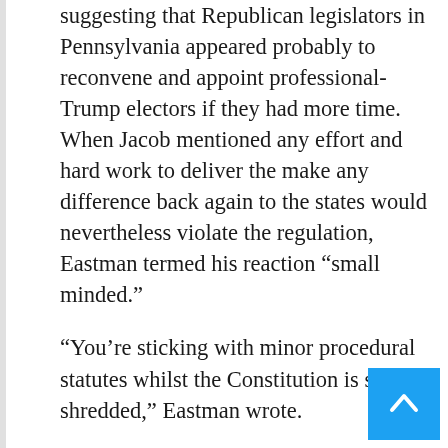suggesting that Republican legislators in Pennsylvania appeared probably to reconvene and appoint professional-Trump electors if they had more time. When Jacob mentioned any effort and hard work to deliver the make any difference back again to the states would nevertheless violate the regulation, Eastman termed his reaction “small minded.”
“You’re sticking with minor procedural statutes whilst the Constitution is staying shredded,” Eastman wrote.
“I respect your heart below,” replied Jacob. “I share your concerns about what Democrats will do at the time in electric power. I want election integrity fixed. But I have operate down just about every authorized path positioned just before me to its